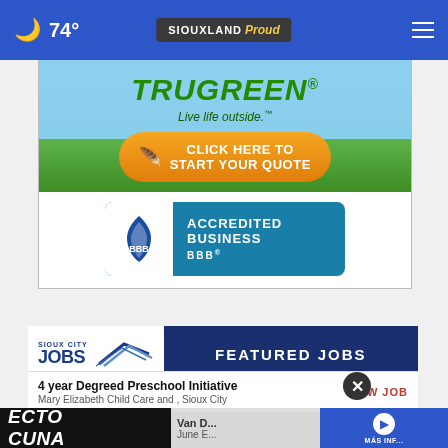74° | SIOUXLAND Proud
[Figure (photo): TruGreen lawn care advertisement with logo, 'Live life outside.' tagline, orange 'CLICK HERE TO START YOUR QUOTE' button, and BBB Accredited Business badge]
[Figure (infographic): Sioux City Jobs - Featured Jobs banner advertisement]
4 year Degreed Preschool Initiative
Mary Elizabeth Child Care and , Sioux City
VIEW JOB
Van D...
June E...